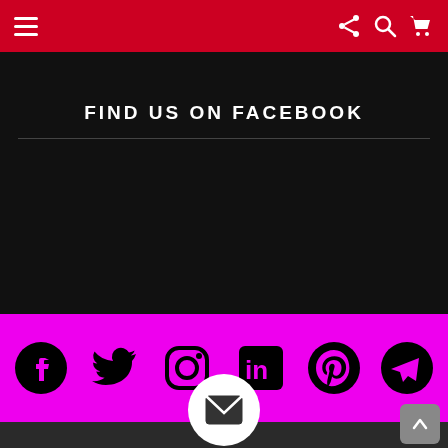Navigation bar with hamburger menu, share, search, and cart icons
FIND US ON FACEBOOK
[Figure (infographic): Magenta social bar with 6 social media icons: Facebook, Twitter, Instagram, LinkedIn, Pinterest, Telegram]
[Figure (infographic): Dark footer section with a white circular mail/email button in the center and a scroll-to-top button on the bottom right]